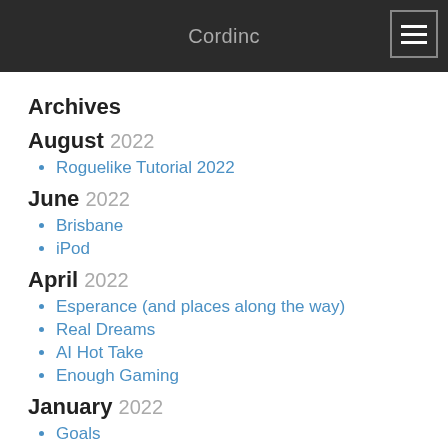Cordinc
Archives
August 2022
Roguelike Tutorial 2022
June 2022
Brisbane
iPod
April 2022
Esperance (and places along the way)
Real Dreams
AI Hot Take
Enough Gaming
January 2022
Goals
End of Year Gaming